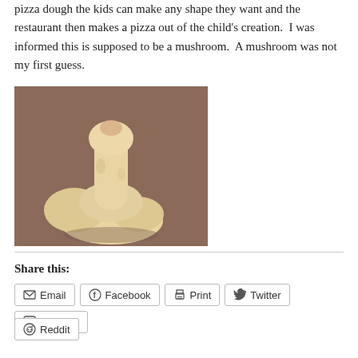pizza dough the kids can make any shape they want and the restaurant then makes a pizza out of the child's creation.  I was informed this is supposed to be a mushroom.  A mushroom was not my first guess.
[Figure (photo): A photo of a child-made pizza dough sculpture on a brown surface, shaped ambiguously — described as a mushroom.]
Share this:
Email
Facebook
Print
Twitter
LinkedIn
Reddit